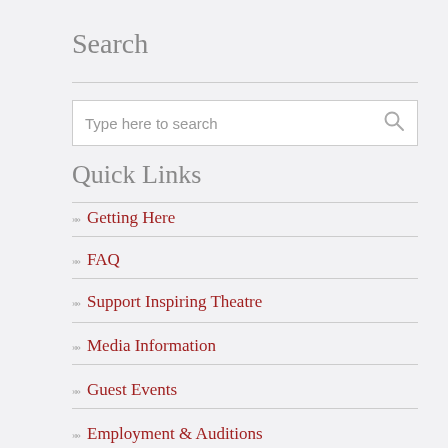Search
Type here to search
Quick Links
Getting Here
FAQ
Support Inspiring Theatre
Media Information
Guest Events
Employment & Auditions